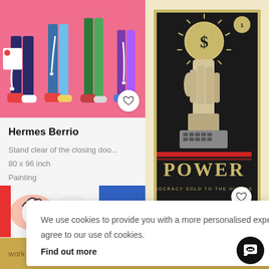[Figure (illustration): Colorful illustration showing legs/feet of figures on pink background with dripping paint]
Hermes Berrio
Stand clear of the closing doo...
80 x 96 inch
Painting
$12,000
[Figure (illustration): Colorful pop-art style illustration showing eyes and swirl patterns]
[Figure (illustration): POWER poster by Shepard Fairey - dark background with hand holding dollar coin, text POWER and DEMOCRACY SOLD TO THE HIGHEST B...]
ard Fairey (...
, 2015
We use cookies to provide you with a more personalised experience. By continuing to use this site, you agree to our use of cookies.
Find out more
work no
the test →